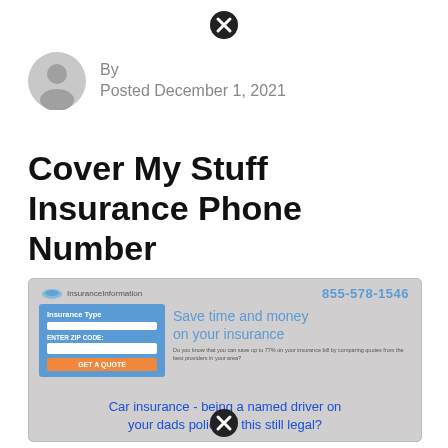[Figure (other): Close button (X icon) at top center]
By
Posted December 1, 2021
Cover My Stuff Insurance Phone Number
[Figure (screenshot): Screenshot of an insurance comparison website showing a form with Insurance Type field, Enter Zip Code input, GET A QUOTE button, phone number 855-578-1546, headline 'Save time and money on your insurance', and a caption 'Car insurance - being a named driver on your dads policy, is this still legal?']
[Figure (other): Close button (X icon) at bottom center]